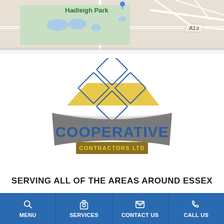[Figure (map): Google Maps style map snippet showing Hadleigh Park area with A13 road label and blue water features]
[Figure (logo): Cooperative Contractors Ltd logo with diamond tile pattern graphic above a curved grey banner with the company name]
SERVING ALL OF THE AREAS AROUND ESSEX
MENU
SERVICES
CONTACT US
CALL US